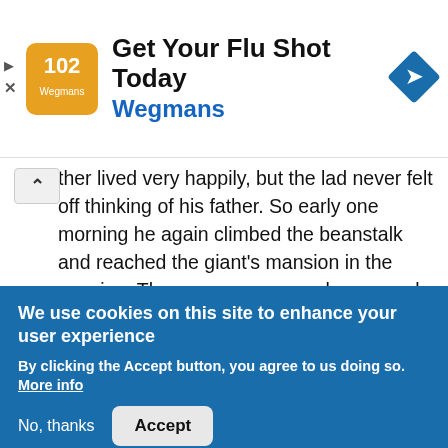[Figure (other): Advertisement banner: Wegmans logo (orange square with decorative pattern), text 'Get Your Flu Shot Today' and 'Wegmans', blue navigation arrow diamond icon on the right. Close/scroll controls on the left.]
ther lived very happily, but the lad never felt off thinking of his father. So early one morning he again climbed the beanstalk and reached the giant's mansion in the evening. The woman came and answered his knock as before. Jack, at once begged her to give him a night's lodging. At first, she began to scold him roundly for having taken her husband's hen on his previous visit, but by this time Jack felt assured that she was a kindly woman and he had no need to fear her. Moreover, in her heart, she knew the giant had no right to the treasures he had stolen, so at last, she admitted the lad and gave him some
We use cookies on this site to enhance your user experience
By clicking the Accept button, you agree to us doing so.  More info
No, thanks
Accept